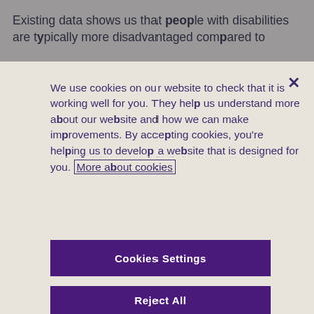Existing data shows us that people with disabilities are typically more disadvantaged compared to
We use cookies on our website to check that it is working well for you. They help us understand more about our website and how we can make improvements. By accepting cookies, you're helping us to develop a website that is designed for you. More about cookies
Cookies Settings
Reject All